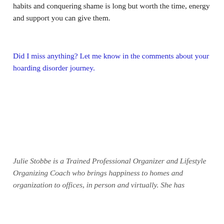habits and conquering shame is long but worth the time, energy and support you can give them.
Did I miss anything? Let me know in the comments about your hoarding disorder journey.
Julie Stobbe is a Trained Professional Organizer and Lifestyle Organizing Coach who brings happiness to homes and organization to offices, in person and virtually. She has